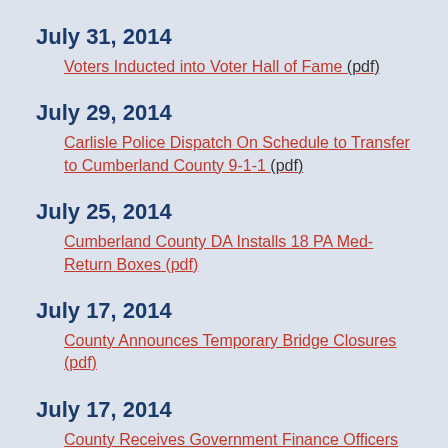July 31, 2014
Voters Inducted into Voter Hall of Fame (pdf)
July 29, 2014
Carlisle Police Dispatch On Schedule to Transfer to Cumberland County 9-1-1 (pdf)
July 25, 2014
Cumberland County DA Installs 18 PA Med-Return Boxes (pdf)
July 17, 2014
County Announces Temporary Bridge Closures (pdf)
July 17, 2014
County Receives Government Finance Officers Association Award (pdf)